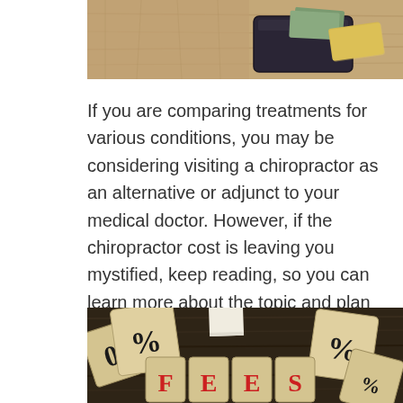[Figure (photo): Top portion of a photo showing a wooden surface with a wallet or smartphone and what appears to be currency/cards, cropped at top of page.]
If you are comparing treatments for various conditions, you may be considering visiting a chiropractor as an alternative or adjunct to your medical doctor. However, if the chiropractor cost is leaving you mystified, keep reading, so you can learn more about the topic and plan accordingly. There are many factors that go into how much a chiropractor costs and many things you can do that may affect the amount you pay.
[Figure (photo): Bottom portion showing wooden letter/number blocks on a dark wood surface. Blocks display percent signs (%) and the letters F, E, E, S in red, spelling out FEES. Some blocks are tipped at angles.]